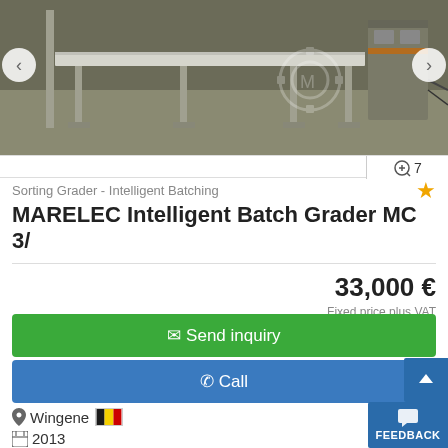[Figure (photo): Industrial sorting/grading machine with conveyor belt in a factory setting. Navigation arrows visible on left and right sides. Watermark/logo visible in lower right of image.]
Sorting Grader - Intelligent Batching
MARELEC  Intelligent Batch Grader MC 3/
33,000 €
Fixed price plus VAT
Send inquiry
Call
Wingene
2013